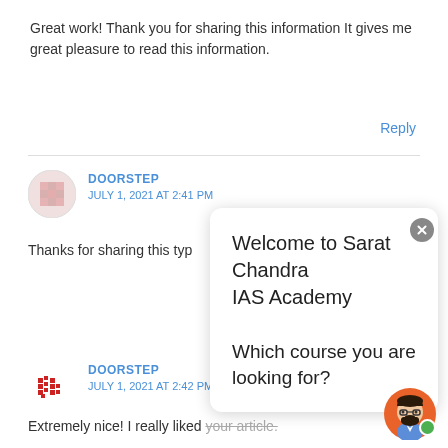Great work! Thank you for sharing this information It gives me great pleasure to read this information.
Reply
DOORSTEP
JULY 1, 2021 AT 2:41 PM
Thanks for sharing this typ
[Figure (infographic): Chat popup overlay with welcome message: 'Welcome to Sarat Chandra IAS Academy' and 'Which course you are looking for?']
DOORSTEP
JULY 1, 2021 AT 2:42 PM
Extremely nice! I really liked your article.
[Figure (illustration): Animated bot avatar with orange circle background, man with glasses and beard, and a green online indicator dot]